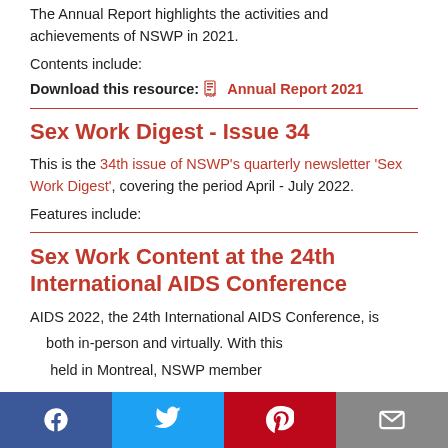The Annual Report highlights the activities and achievements of NSWP in 2021.
Contents include:
Download this resource: Annual Report 2021
Sex Work Digest - Issue 34
This is the 34th issue of NSWP's quarterly newsletter 'Sex Work Digest', covering the period April - July 2022.
Features include:
Sex Work Content at the 24th International AIDS Conference
AIDS 2022, the 24th International AIDS Conference, is held in-person and virtually. With this held in Montreal, NSWP member